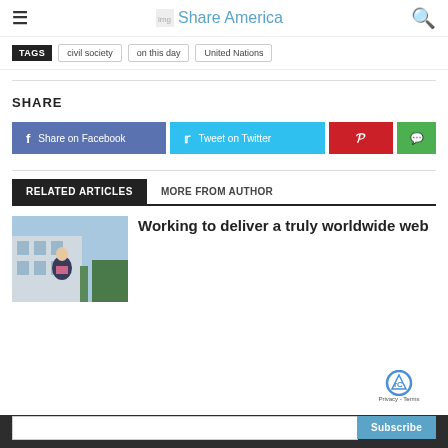Share America
TAGS  civil society  on this day  United Nations
SHARE
Share on Facebook  Tweet on Twitter
RELATED ARTICLES  MORE FROM AUTHOR
[Figure (photo): Woman standing outside a building]
Working to deliver a truly worldwide web
Stay Connected! Sign up to receive ShareAmerica updates.
Subscribe